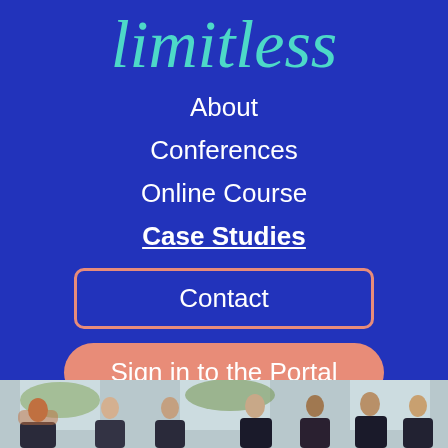limitless
About
Conferences
Online Course
Case Studies
Contact
Sign in to the Portal
[Figure (photo): Group of business professionals in a bright room, networking or in discussion]